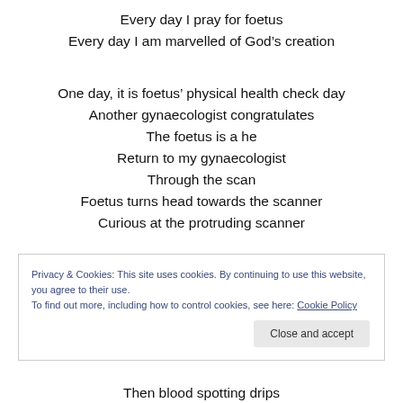Every day I pray for foetus
Every day I am marvelled of God’s creation
One day, it is foetus’ physical health check day
Another gynaecologist congratulates
The foetus is a he
Return to my gynaecologist
Through the scan
Foetus turns head towards the scanner
Curious at the protruding scanner
Privacy & Cookies: This site uses cookies. By continuing to use this website, you agree to their use. To find out more, including how to control cookies, see here: Cookie Policy
Then blood spotting drips